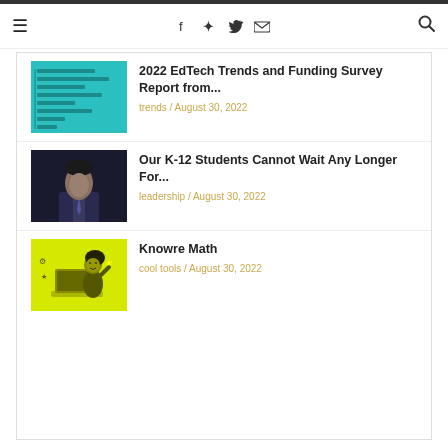≡   f  ✕  ✉   🔍
[Figure (screenshot): Thumbnail showing a teal/cyan bar chart graphic for EdTech Trends report]
2022 EdTech Trends and Funding Survey Report from...
trends / August 30, 2022
[Figure (photo): Dark portrait photo of a man in a suit and tie]
Our K-12 Students Cannot Wait Any Longer For...
leadership / August 30, 2022
[Figure (illustration): Yellow/lime green illustration of a cartoon girl character at a laptop]
Knowre Math
cool tools / August 30, 2022